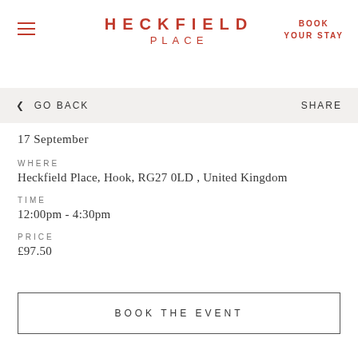HECKFIELD PLACE
BOOK YOUR STAY
< GO BACK    SHARE
17 September
WHERE
Heckfield Place, Hook, RG27 0LD , United Kingdom
TIME
12:00pm - 4:30pm
PRICE
£97.50
BOOK THE EVENT